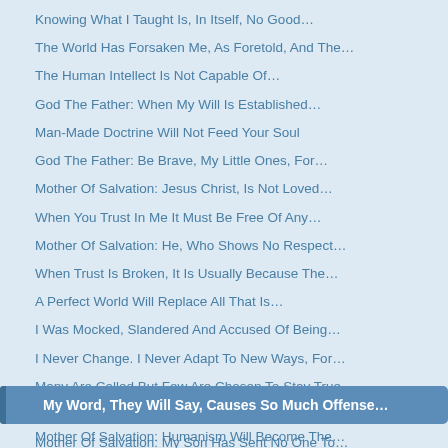Knowing What I Taught Is, In Itself, No Good…
The World Has Forsaken Me, As Foretold, And The…
The Human Intellect Is Not Capable Of…
God The Father: When My Will Is Established…
Man-Made Doctrine Will Not Feed Your Soul
God The Father: Be Brave, My Little Ones, For…
Mother Of Salvation: Jesus Christ, Is Not Loved…
When You Trust In Me It Must Be Free Of Any…
Mother Of Salvation: He, Who Shows No Respect…
When Trust Is Broken, It Is Usually Because The…
A Perfect World Will Replace All That Is…
I Was Mocked, Slandered And Accused Of Being…
I Never Change. I Never Adapt To New Ways, For…
Many Are Called But Few Are Chosen To Stay True…
Many People Declare Themselves To Be Christians…
Mother Of Salvation: My Son Has Sent No One To…
My Word, They Will Say, Causes So Much Offense…
Mother Of Salvation: Humanism Will Become The…
Do Not Trouble Your Hearts, Argue Over Me Or…